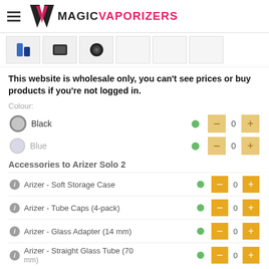MAGIC VAPORIZERS
[Figure (screenshot): Thumbnail strip of product images]
This website is wholesale only, you can't see prices or buy products if you're not logged in.
Colour:
Black - quantity 0
Blue - quantity 0
Accessories to Arizer Solo 2
Arizer - Soft Storage Case - quantity 0
Arizer - Tube Caps (4-pack) - quantity 0
Arizer - Glass Adapter (14 mm) - quantity 0
Arizer - Straight Glass Tube (70 mm) - quantity 0